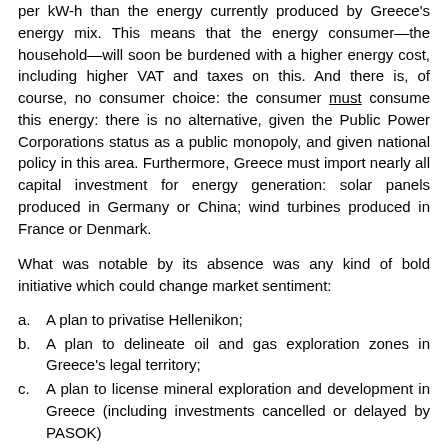per kW-h than the energy currently produced by Greece's energy mix. This means that the energy consumer—the household—will soon be burdened with a higher energy cost, including higher VAT and taxes on this. And there is, of course, no consumer choice: the consumer must consume this energy: there is no alternative, given the Public Power Corporations status as a public monopoly, and given national policy in this area. Furthermore, Greece must import nearly all capital investment for energy generation: solar panels produced in Germany or China; wind turbines produced in France or Denmark.
What was notable by its absence was any kind of bold initiative which could change market sentiment:
a.  A plan to privatise Hellenikon;
b.  A plan to delineate oil and gas exploration zones in Greece's legal territory;
c.  A plan to license mineral exploration and development in Greece (including investments cancelled or delayed by PASOK)
d.  A plan for tourism and shipping in Greece.